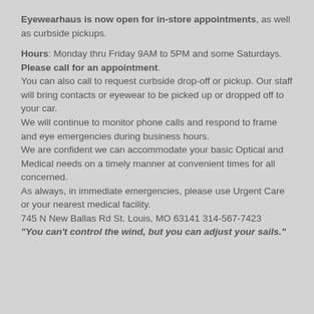Eyewearhaus is now open for in-store appointments, as well as curbside pickups.
Hours: Monday thru Friday 9AM to 5PM and some Saturdays. Please call for an appointment. You can also call to request curbside drop-off or pickup. Our staff will bring contacts or eyewear to be picked up or dropped off to your car. We will continue to monitor phone calls and respond to frame and eye emergencies during business hours. We are confident we can accommodate your basic Optical and Medical needs on a timely manner at convenient times for all concerned. As always, in immediate emergencies, please use Urgent Care or your nearest medical facility. 745 N New Ballas Rd St. Louis, MO 63141 314-567-7423 "You can't control the wind, but you can adjust your sails."